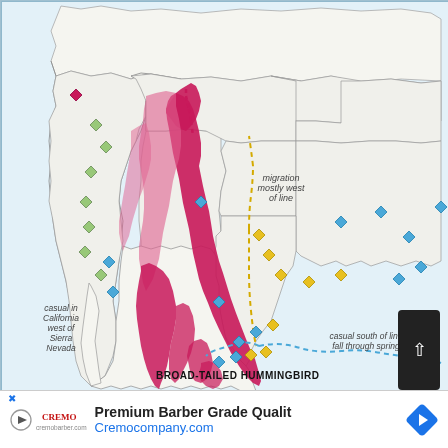[Figure (map): Range map of the Broad-tailed Hummingbird (Selasphorus platycercus) showing breeding range in magenta/pink across western US and Mexico, migration corridor marked with dotted lines, casual sightings marked with colored diamond symbols (green, blue, yellow/orange). Labels indicate 'migration mostly west of line', 'casual in California west of Sierra Nevada', and 'casual south of line fall through spring'. Map covers North America including US, Canada, and Mexico.]
BROAD-TAILED HUMMINGBIRD
Premium Barber Grade Qualit
Cremocompany.com